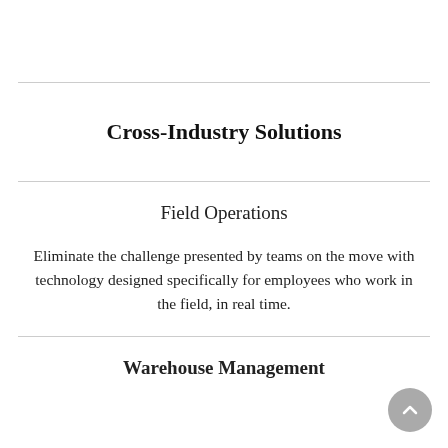Cross-Industry Solutions
Field Operations
Eliminate the challenge presented by teams on the move with technology designed specifically for employees who work in the field, in real time.
Warehouse Management